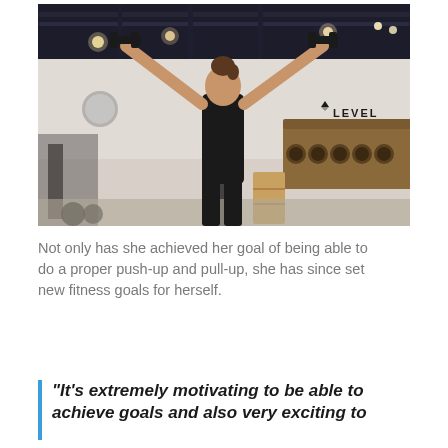[Figure (photo): A woman in black athletic wear lifting dumbbells overhead with both arms raised in a gym with dark industrial ceiling. The gym has a reception desk with 'LEVEL' branding in the background.]
Not only has she achieved her goal of being able to do a proper push-up and pull-up, she has since set new fitness goals for herself.
“It’s extremely motivating to be able to achieve goals and also very exciting to